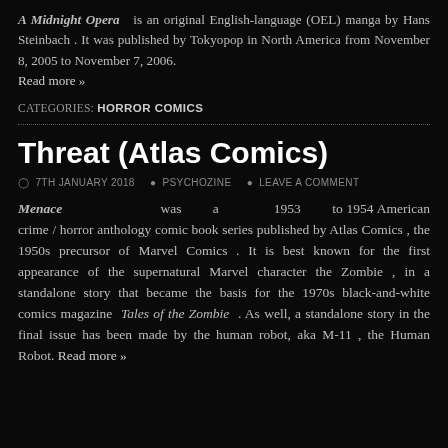A Midnight Opera is an original English-language (OEL) manga by Hans Steinbach . It was published by Tokyopop in North America from November 8, 2005 to November 7, 2006. Read more »
CATEGORIES: HORROR COMICS
Threat (Atlas Comics)
7TH JANUARY 2018  PSYCHOZINE  LEAVE A COMMENT
Menace was a 1953 to 1954 American crime / horror anthology comic book series published by Atlas Comics , the 1950s precursor of Marvel Comics . It is best known for the first appearance of the supernatural Marvel character the Zombie , in a standalone story that became the basis for the 1970s black-and-white comics magazine Tales of the Zombie . As well, a standalone story in the final issue has been made by the human robot, aka M-11 , the Human Robot. Read more »